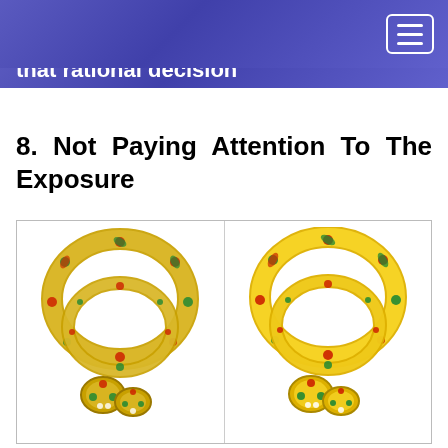that rational decision
8. Not Paying Attention To The Exposure
[Figure (photo): Two side-by-side photos of ornate Indian meenakari bangles decorated with red, green, and gold enamel floral patterns with gemstone embellishments. Left image shows bangles on white background; right image shows same style bangles with more vivid yellow/gold coloring.]